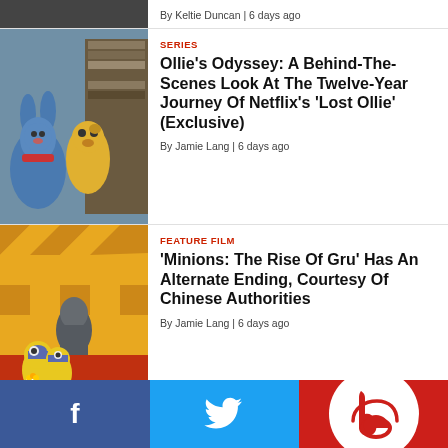By Keltie Duncan | 6 days ago
SERIES
Ollie's Odyssey: A Behind-The-Scenes Look At The Twelve-Year Journey Of Netflix's 'Lost Ollie' (Exclusive)
By Jamie Lang | 6 days ago
FEATURE FILM
'Minions: The Rise Of Gru' Has An Alternate Ending, Courtesy Of Chinese Authorities
By Jamie Lang | 6 days ago
EVENTS